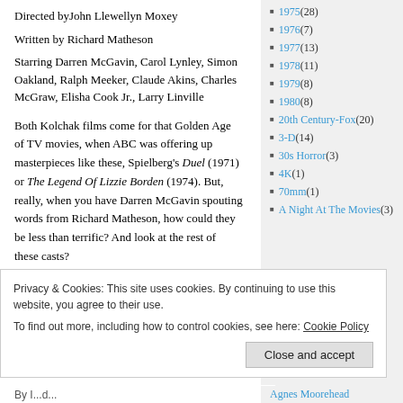Directed byJohn Llewellyn Moxey
Written by Richard Matheson
Starring Darren McGavin, Carol Lynley, Simon Oakland, Ralph Meeker, Claude Akins, Charles McGraw, Elisha Cook Jr., Larry Linville
Both Kolchak films come for that Golden Age of TV movies, when ABC was offering up masterpieces like these, Spielberg's Duel (1971) or The Legend Of Lizzie Borden (1974). But, really, when you have Darren McGavin spouting words from Richard Matheson, how could they be less than terrific? And look at the rest of these casts?
1975 (28)
1976 (7)
1977 (13)
1978 (11)
1979 (8)
1980 (8)
20th Century-Fox (20)
3-D (14)
30s Horror (3)
4K (1)
70mm (1)
A Night At The Movies (3)
Privacy & Cookies: This site uses cookies. By continuing to use this website, you agree to their use.
To find out more, including how to control cookies, see here: Cookie Policy
Close and accept